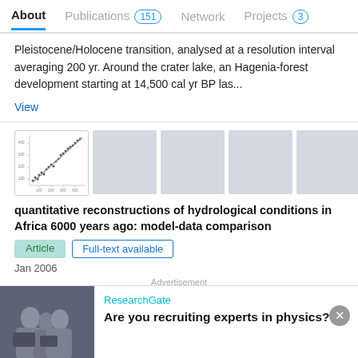About   Publications 151   Network   Projects 3
Pleistocene/Holocene transition, analysed at a resolution interval averaging 200 yr. Around the crater lake, an Hagenia-forest development starting at 14,500 cal yr BP las...
View
[Figure (continuous-plot): Small thumbnail of a scatter/line chart with data points showing a trend, used as publication figure preview]
quantitative reconstructions of hydrological conditions in Africa 6000 years ago: model-data comparison
Article   Full-text available
Jan 2006
Advertisement
Odile Reyron   Dominique Jolly   Pascale Braconnet
ResearchGate
Are you recruiting experts in physics?